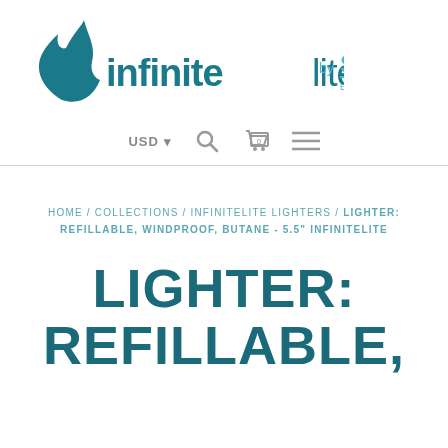[Figure (logo): Infinitelite by Sun Equipment Corporation logo with teal flame/droplet icon]
USD  [search icon] [cart icon: 0] [menu icon]
HOME / COLLECTIONS / INFINITELITE LIGHTERS / LIGHTER: REFILLABLE, WINDPROOF, BUTANE - 5.5" INFINITELITE
LIGHTER: REFILLABLE,